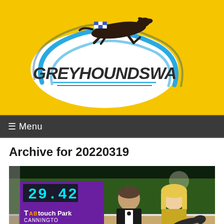[Figure (logo): GreyhoundsWA logo — greyhound silhouette above an oval with 'GREYHOUNDSWA' text, on a yellow background]
☰ Menu
Archive for 20220319
[Figure (photo): Night-time photo at TABtouch Park Cannington showing a man in a tuxedo and a woman holding a greyhound, with a scoreboard showing 29.42 in the background]